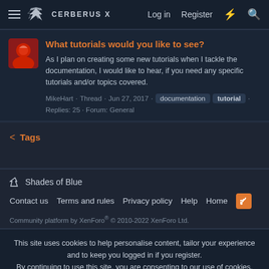CERBERUS X — Log in  Register
What tutorials would you like to see?
As I plan on creating some new tutorials when I tackle the documentation, I would like to hear, if you need any specific tutorials and/or topics covered.
MikeHart · Thread · Jun 27, 2017 · documentation · tutorial · Replies: 25 · Forum: General
< Tags
🖊 Shades of Blue
Contact us  Terms and rules  Privacy policy  Help  Home
Community platform by XenForo® © 2010-2022 XenForo Ltd.
This site uses cookies to help personalise content, tailor your experience and to keep you logged in if you register.
By continuing to use this site, you are consenting to our use of cookies.